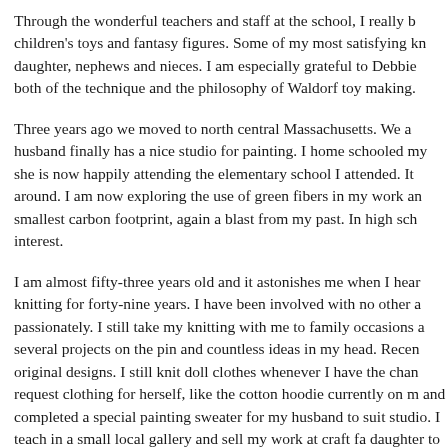Through the wonderful teachers and staff at the school, I really b... children's toys and fantasy figures. Some of my most satisfying kn... daughter, nephews and nieces. I am especially grateful to Debbie both of the technique and the philosophy of Waldorf toy making.
Three years ago we moved to north central Massachusetts. We a... husband finally has a nice studio for painting. I home schooled my she is now happily attending the elementary school I attended. It around. I am now exploring the use of green fibers in my work an... smallest carbon footprint, again a blast from my past. In high sch... interest.
I am almost fifty-three years old and it astonishes me when I hear knitting for forty-nine years. I have been involved with no other a... passionately. I still take my knitting with me to family occasions a... several projects on the pin and countless ideas in my head. Recen... original designs. I still knit doll clothes whenever I have the chan... request clothing for herself, like the cotton hoodie currently on m... and completed a special painting sweater for my husband to suit studio. I teach in a small local gallery and sell my work at craft fa... daughter to knit and so the skill will carry on to the next generati...